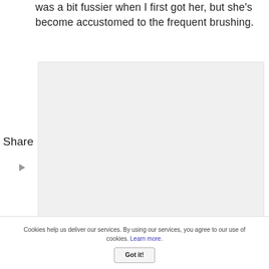was a bit fussier when I first got her, but she's become accustomed to the frequent brushing.
[Figure (other): Light gray rectangular placeholder image region]
Share
[Figure (other): Small left-pointing triangle/play icon in gray]
Cookies help us deliver our services. By using our services, you agree to our use of cookies. Learn more. Got it!